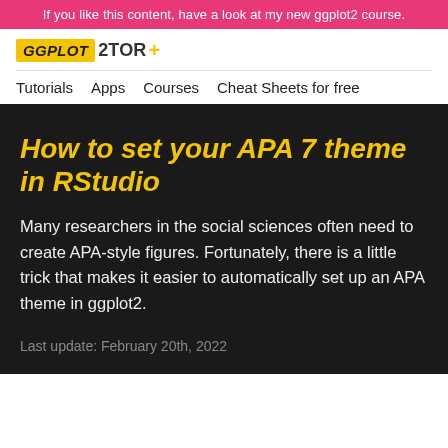If you like this content, have a look at my new ggplot2 course.
[Figure (logo): GGPLOT2TOR+ logo with yellow GGPLOT box and 2TOR+ text]
Tutorials   Apps   Courses   Cheat Sheets for free
How to set your APA 7 theme in RStudio
Many researchers in the social sciences often need to create APA-style figures. Fortunately, there is a little trick that makes it easier to automatically set up an APA theme in ggplot2.
Last update: February 20th, 2022